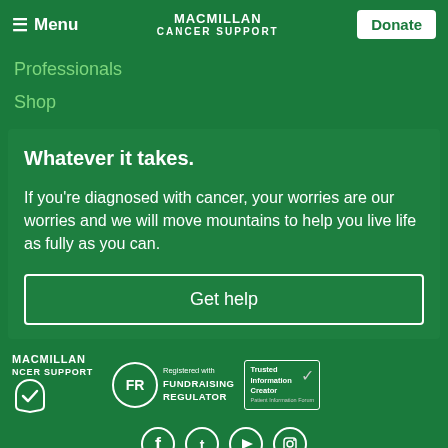≡ Menu  MACMILLAN CANCER SUPPORT  Donate
Professionals
Shop
Whatever it takes.
If you're diagnosed with cancer, your worries are our worries and we will move mountains to help you live life as fully as you can.
Get help
MACMILLAN CANCER SUPPORT | Registered with FUNDRAISING REGULATOR | Trusted Information Creator | Social media icons: Facebook, Twitter, YouTube, Instagram